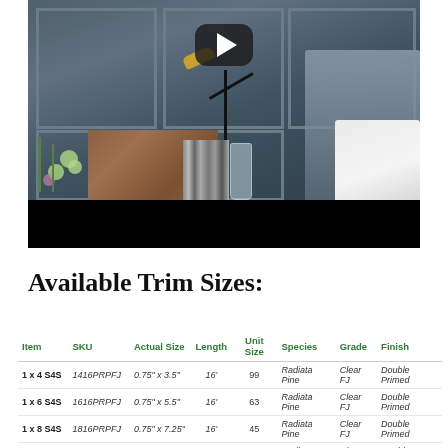[Figure (screenshot): Video thumbnail of a bedroom interior with dark blue-gray walls, a gold floor lamp, flowers, books, and a gray headboard with white pillow. A YouTube play button is overlaid on the image. The lower portion of the video frame is black.]
Available Trim Sizes:
| Item | SKU | Actual Size | Length | Unit Size | Species | Grade | Finish |
| --- | --- | --- | --- | --- | --- | --- | --- |
| 1 x 4 S4S | 1416PRPFJ | 0.75" x 3.5" | 16' | 99 | Radiata Pine | Clear FJ | Double Primed |
| 1 x 6 S4S | 1616PRPFJ | 0.75" x 5.5" | 16' | 63 | Radiata Pine | Clear FJ | Double Primed |
| 1 x 8 S4S | 1816PRPFJ | 0.75" x 7.25" | 16' | 45 | Radiata Pine | Clear FJ | Double Primed |
| 1 x 10 S4S | 11016PRPFJ | 0.75" x 9.25" | 16' | 36 | Radiata Pine | Clear FJ | Double Primed |
| 1 x 12 S4S | 11216PRPFJ | 0.75" x 11.25" | 16' | 36 | Radiata Pine | Clear FJ | Double Primed |